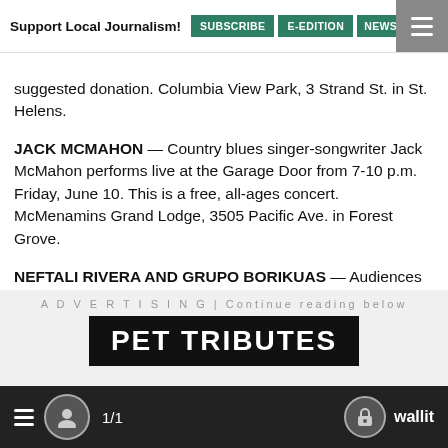Support Local Journalism! SUBSCRIBE E-EDITION NEWSLET
suggested donation. Columbia View Park, 3 Strand St. in St. Helens.
JACK MCMAHON — Country blues singer-songwriter Jack McMahon performs live at the Garage Door from 7-10 p.m. Friday, June 10. This is a free, all-ages concert. McMenamins Grand Lodge, 3505 Pacific Ave. in Forest Grove.
NEFTALI RIVERA AND GRUPO BORIKUAS — Audiences will be entertained by this vocal, string and percussion ensemble's blend of music from Puerto Rico and the Caribbean, Spain, and West Africa, performed live at 7:30 p.m. Friday, June 10. Tickets $16 at cityofhillsboro.ticketspice.com/neftali-rivera-grupo-borikuas. Glenn & Viola Walters Cultural Arts Center, 527 E. Main St. in Hillsboro.
ADVERTISING | Continue reading below
[Figure (other): Advertisement banner with text PET TRIBUTES]
1/1  wallit